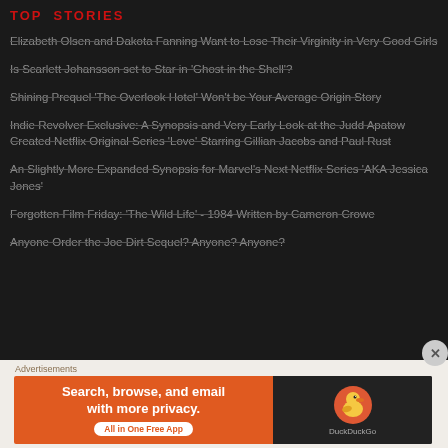TOP STORIES
Elizabeth Olsen and Dakota Fanning Want to Lose Their Virginity in Very Good Girls
Is Scarlett Johansson set to Star in 'Ghost in the Shell'?
Shining Prequel 'The Overlook Hotel' Won't be Your Average Origin Story
Indie Revolver Exclusive: A Synopsis and Very Early Look at the Judd Apatow Created Netflix Original Series 'Love' Starring Gillian Jacobs and Paul Rust
An Slightly More Expanded Synopsis for Marvel's Next Netflix Series 'AKA Jessica Jones'
Forgotten Film Friday: 'The Wild Life' - 1984 Written by Cameron Crowe
Anyone Order the Joe Dirt Sequel? Anyone? Anyone?
Advertisements
[Figure (infographic): DuckDuckGo advertisement banner: orange left side reading 'Search, browse, and email with more privacy. All in One Free App', right side dark with DuckDuckGo logo and duck icon.]